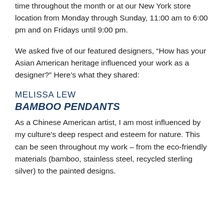time throughout the month or at our New York store location from Monday through Sunday, 11:00 am to 6:00 pm and on Fridays until 9:00 pm.
We asked five of our featured designers, “How has your Asian American heritage influenced your work as a designer?” Here’s what they shared:
MELISSA LEW
BAMBOO PENDANTS
As a Chinese American artist, I am most influenced by my culture's deep respect and esteem for nature. This can be seen throughout my work – from the eco-friendly materials (bamboo, stainless steel, recycled sterling silver) to the painted designs.